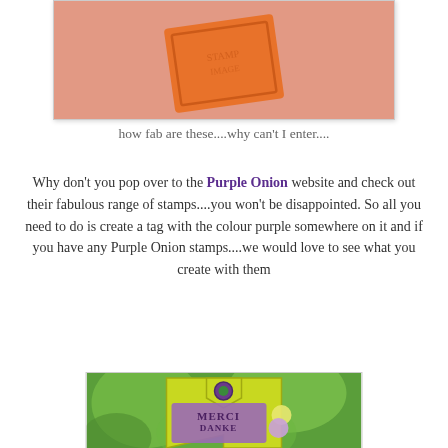[Figure (photo): Close-up photo of an orange decorative rubber stamp on a pink/skin-tone background]
how fab are these....why can't I enter....
Why don't you pop over to the Purple Onion website and check out their fabulous range of stamps....you won't be disappointed. So all you need to do is create a tag with the colour purple somewhere on it and if you have any Purple Onion stamps....we would love to see what you create with them
[Figure (photo): Photo of a handmade yellow-green tag with purple stamp saying MERCI, DANKE, GRACIAS decorated with paper flowers on a green bokeh background]